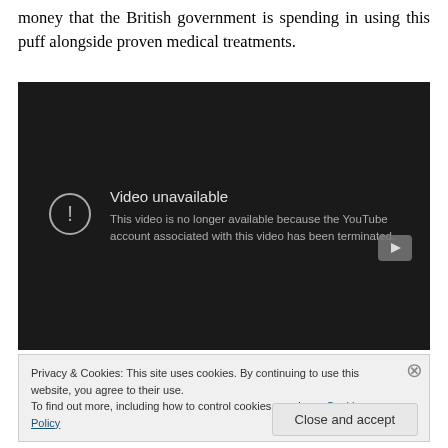money that the British government is spending in using this puff alongside proven medical treatments.
[Figure (screenshot): Embedded YouTube video player showing 'Video unavailable' error: 'This video is no longer available because the YouTube account associated with this video has been terminated.']
Privacy & Cookies: This site uses cookies. By continuing to use this website, you agree to their use.
To find out more, including how to control cookies, see here: Cookie Policy
Close and accept